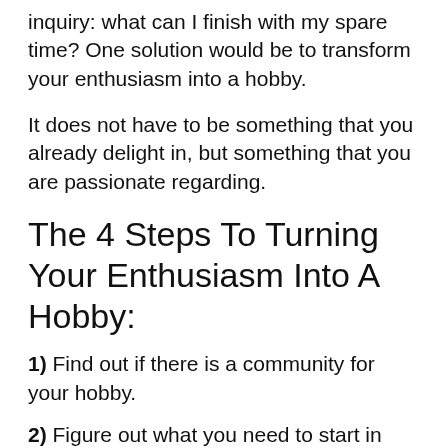inquiry: what can I finish with my spare time? One solution would be to transform your enthusiasm into a hobby.
It does not have to be something that you already delight in, but something that you are passionate regarding.
The 4 Steps To Turning Your Enthusiasm Into A Hobby:
1) Find out if there is a community for your hobby.
2) Figure out what you need to start in your brand-new hobby.